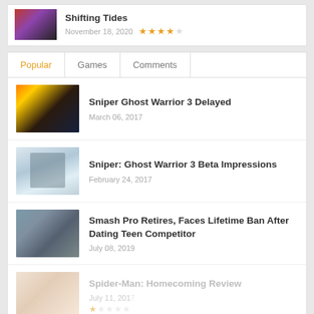Shifting Tides — November 18, 2020 — 4 stars
Popular | Games | Comments
Sniper Ghost Warrior 3 Delayed
March 06, 2017
Sniper: Ghost Warrior 3 Beta Impressions
February 24, 2017
Smash Pro Retires, Faces Lifetime Ban After Dating Teen Competitor
July 08, 2019
Spider-Man: Homecoming Review
July 11, 2017 — 1 star